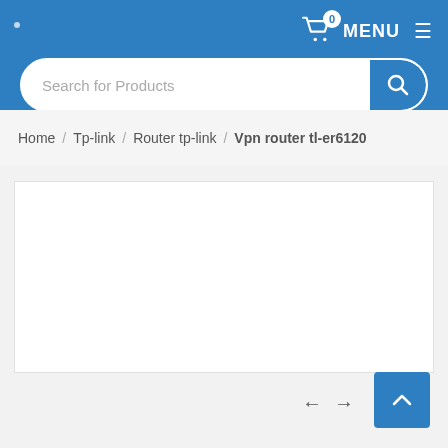MENU
Search for Products
Home / Tp-link / Router tp-link / Vpn router tl-er6120
[Figure (screenshot): White product content area placeholder box]